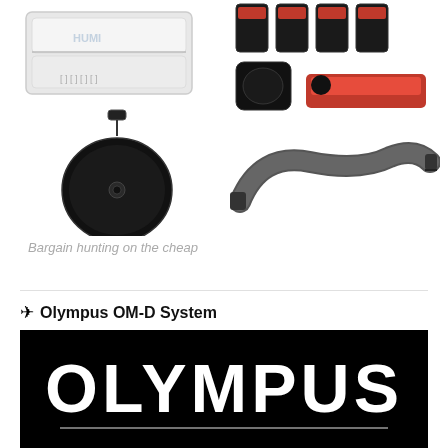[Figure (photo): Top-left: white plastic card/battery case]
[Figure (photo): Top-right: red and black lens cap covers set with pouch]
[Figure (photo): Mid-left: round black neoprene lens pouch with clip]
[Figure (photo): Mid-right: dark grey camera neck strap]
Bargain hunting on the cheap
✈ Olympus OM-D System
[Figure (logo): Olympus logo in white text on black background banner]